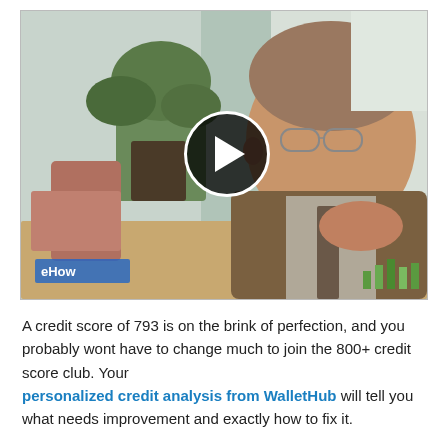[Figure (photo): Video thumbnail showing a man in glasses and a brown jacket in an office setting with a plant, with a play button overlay. A blue watermark reads 'eHow' and green bars appear in the bottom right.]
A credit score of 793 is on the brink of perfection, and you probably wont have to change much to join the 800+ credit score club. Your personalized credit analysis from WalletHub will tell you what needs improvement and exactly how to fix it.
A few things in particular tend to stand between a credit score of 793 and perfect credit, though. And if you do nothing